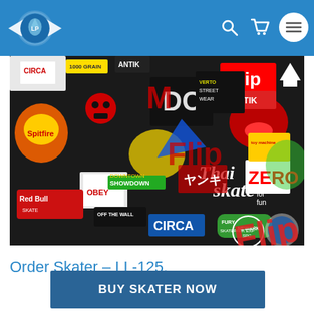Liquid Print navigation bar with logo, search, cart, and menu icons
[Figure (photo): Colorful skateboard brand sticker bomb collage featuring logos including Flip, DC, Circa, Zero, Toy Machine, Spitfire, Red Bull, Obey, Vans, Antik, and many others on a dark background]
Order Skater – LL-125.
BUY SKATER NOW